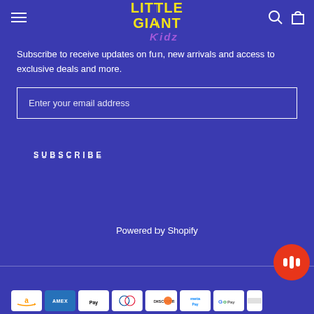Little Giant Kidz — navigation header with hamburger menu, logo, search and cart icons
Subscribe to receive updates on fun, new arrivals and access to exclusive deals and more.
Enter your email address
SUBSCRIBE
Powered by Shopify
[Figure (logo): Payment method icons: Amazon, Amex, Apple Pay, Diners Club, Discover, Meta Pay, Google Pay, and one more partially visible]